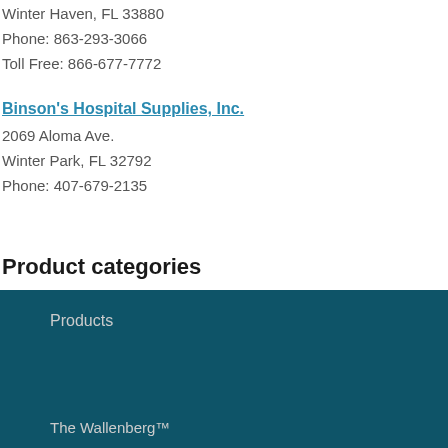70 Ford Street SW
Winter Haven, FL 33880
Phone: 863-293-3066
Toll Free: 866-677-7772
Binson's Hospital Supplies, Inc.
2069 Aloma Ave.
Winter Park, FL 32792
Phone: 407-679-2135
Product categories
escapeproof
eztether
Uncategorized
Products
The Wallenberg™